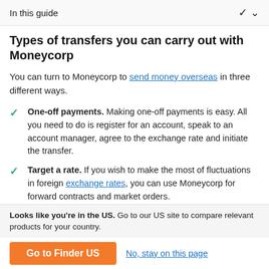In this guide
Types of transfers you can carry out with Moneycorp
You can turn to Moneycorp to send money overseas in three different ways.
One-off payments. Making one-off payments is easy. All you need to do is register for an account, speak to an account manager, agree to the exchange rate and initiate the transfer.
Target a rate. If you wish to make the most of fluctuations in foreign exchange rates, you can use Moneycorp for forward contracts and market orders. With forward contracts, you can lock in exchange rates
Looks like you're in the US. Go to our US site to compare relevant products for your country.
Go to Finder US
No, stay on this page